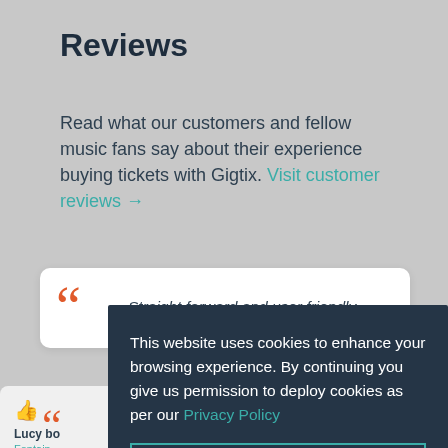Reviews
Read what our customers and fellow music fans say about their experience buying tickets with Gigtix. Visit customer reviews →
Straight forward and user friendly.
Lucy bo
Fontain
20 Aug
This website uses cookies to enhance your browsing experience. By continuing you give us permission to deploy cookies as per our Privacy Policy
Excellent. I accept.